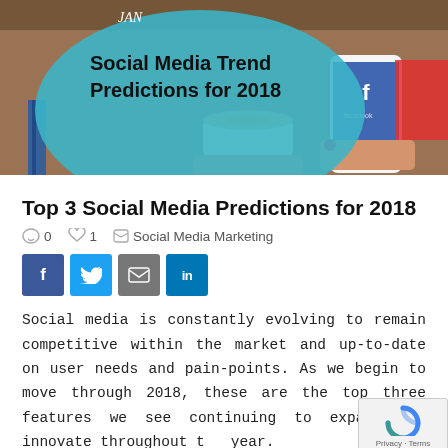[Figure (photo): Hero image showing hands holding a coffee cup and a smartphone displaying Facebook, with a speech bubble graphic reading 'JAN Social Media Trend Predictions for 2018' on a teal background]
Top 3 Social Media Predictions for 2018
0  1  Social Media Marketing
[Figure (infographic): Social sharing buttons: Facebook (blue), Twitter (light blue), Email (gray), LinkedIn (dark blue)]
Social media is constantly evolving to remain competitive within the market and up-to-date on user needs and pain-points. As we begin to move through 2018, these are the top three features we see continuing to expand and innovate throughout the year.